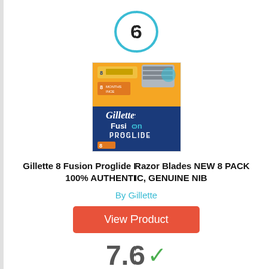[Figure (other): Circle with number 6 in cyan/blue border]
[Figure (photo): Product photo of Gillette Fusion ProGlide 8-pack razor blades box]
Gillette 8 Fusion Proglide Razor Blades NEW 8 PACK 100% AUTHENTIC, GENUINE NIB
By Gillette
View Product
7.6